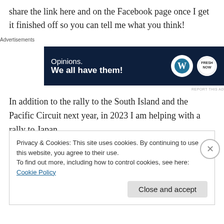share the link here and on the Facebook page once I get it finished off so you can tell me what you think!
[Figure (screenshot): Advertisement banner: 'Opinions. We all have them!' on dark navy background with WordPress and Freshly logos]
In addition to the rally to the South Island and the Pacific Circuit next year, in 2023 I am helping with a rally to Japan.
And of course all the administration and learning that
Privacy & Cookies: This site uses cookies. By continuing to use this website, you agree to their use.
To find out more, including how to control cookies, see here: Cookie Policy